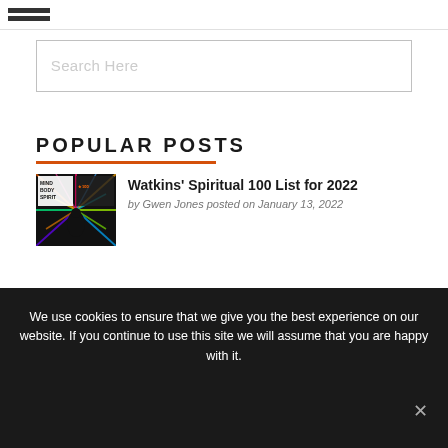Navigation menu (hamburger icon)
Search Here
POPULAR POSTS
[Figure (illustration): Thumbnail image of Mind Body Spirit magazine cover with colorful design and a figure silhouette]
Watkins' Spiritual 100 List for 2022
by Gwen Jones posted on January 13, 2022
We use cookies to ensure that we give you the best experience on our website. If you continue to use this site we will assume that you are happy with it.